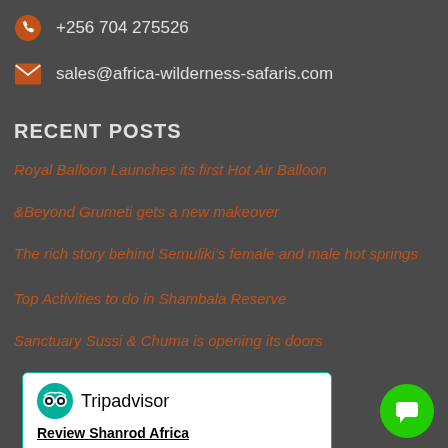+256 704 275526
sales@africa-wilderness-safaris.com
RECENT POSTS
Royal Balloon Launches its first Hot Air Balloon
&Beyond Grumeti gets a new makeover
The rich story behind Semuliki's female and male hot springs
Top Activities to do in Shambala Reserve
Sanctuary Sussi & Chuma is opening its doors
[Figure (screenshot): Tripadvisor widget with owl logo, 'Review Shanrod Africa' link, five empty star circles with '(Click to rate)' text, and a textarea placeholder saying 'Title your review - Describe your stay in one sentence or less.']